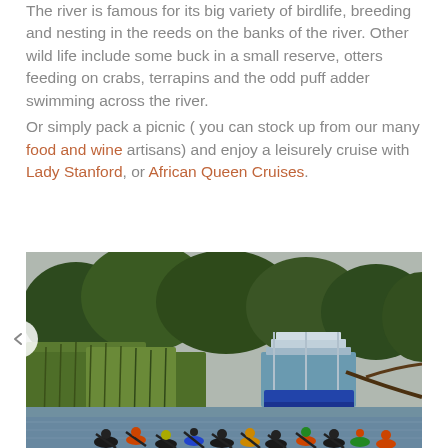The river is famous for its big variety of birdlife, breeding and nesting in the reeds on the banks of the river. Other wild life include some buck in a small reserve, otters feeding on crabs, terrapins and the odd puff adder swimming across the river.
Or simply pack a picnic ( you can stock up from our many food and wine artisans) and enjoy a leisurely cruise with Lady Stanford, or African Queen Cruises.
[Figure (photo): A group of kayakers on a river with reeds and trees in the background and a blue and white multi-level boat dock or pontoon structure visible in the middle distance.]